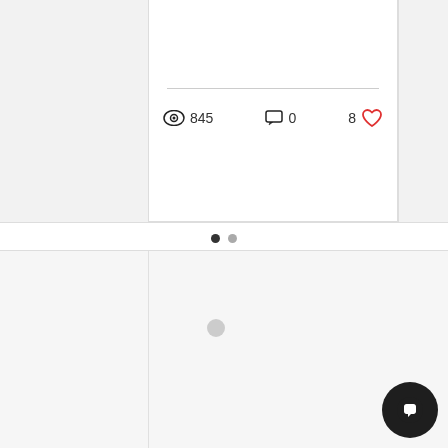[Figure (screenshot): Blog or social post card UI showing a horizontal rule, view count of 845, comment count of 0, and like count of 8 with a red heart icon. Below the card are two pagination dots (one filled, one gray). Below a separator is a loading section with a gray circle in the center. At bottom right is a dark circular chat button with a speech bubble icon.]